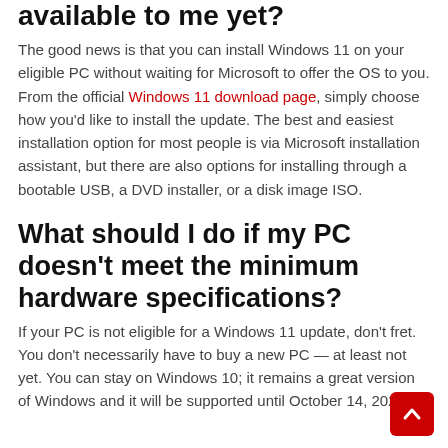available to me yet?
The good news is that you can install Windows 11 on your eligible PC without waiting for Microsoft to offer the OS to you. From the official Windows 11 download page, simply choose how you'd like to install the update. The best and easiest installation option for most people is via Microsoft installation assistant, but there are also options for installing through a bootable USB, a DVD installer, or a disk image ISO.
What should I do if my PC doesn't meet the minimum hardware specifications?
If your PC is not eligible for a Windows 11 update, don't fret. You don't necessarily have to buy a new PC — at least not yet. You can stay on Windows 10; it remains a great version of Windows and it will be supported until October 14, 2025.